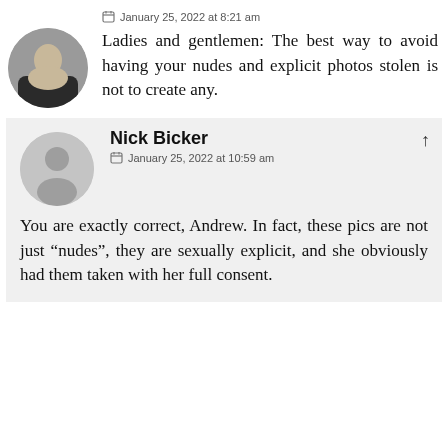[Figure (photo): Circular avatar photo of a person, cropped and styled as a profile picture]
January 25, 2022 at 8:21 am
Ladies and gentlemen: The best way to avoid having your nudes and explicit photos stolen is not to create any.
[Figure (illustration): Gray circular default avatar with silhouette of a person]
Nick Bicker
January 25, 2022 at 10:59 am
You are exactly correct, Andrew. In fact, these pics are not just “nudes”, they are sexually explicit, and she obviously had them taken with her full consent.